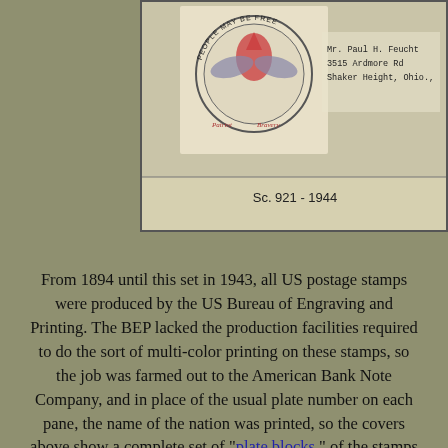[Figure (photo): Partial view of a first day cover envelope with a postage stamp image showing an eagle and text 'PEOPLE MAY BE FREE', addressed to Mr. Paul H. Feucht, 3515 Ardmore Rd, Shaker Height, Ohio. Caption reads: Sc. 921 - 1944]
Sc. 921 - 1944
From 1894 until this set in 1943, all US postage stamps were produced by the US Bureau of Engraving and Printing. The BEP lacked the production facilities required to do the sort of multi-color printing on these stamps, so the job was farmed out to the American Bank Note Company, and in place of the usual plate number on each pane, the name of the nation was printed, so the covers above show a complete set of "plate blocks " of the stamps in this set.